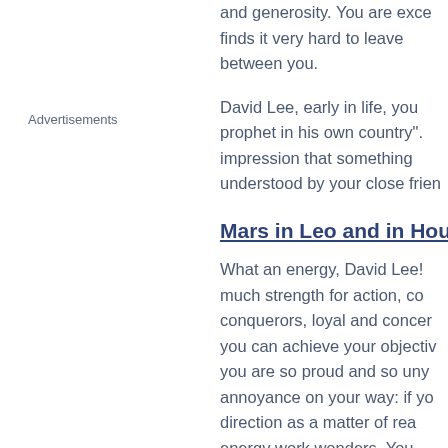and generosity. You are exce... finds it very hard to leave between you.
Advertisements
David Lee, early in life, you... prophet in his own country". impression that something understood by your close frien...
Mars in Leo and in Hous...
What an energy, David Lee! much strength for action, co... conquerors, loyal and concer... you can achieve your objectiv... you are so proud and so uny... annoyance on your way: if yo... direction as a matter of rea... energy work wonders. You slightly domineering nature admiration, all goes perfec...